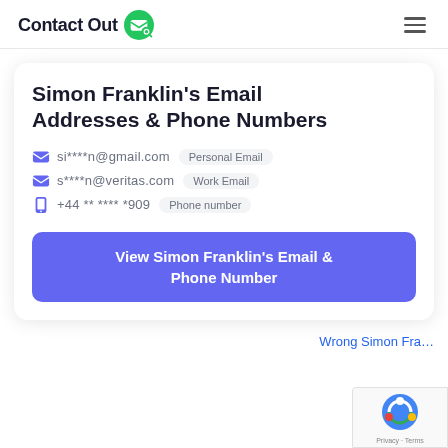ContactOut
Simon Franklin's Email Addresses & Phone Numbers
si****n@gmail.com — Personal Email
s****n@veritas.com — Work Email
+44 ** **** *909 — Phone number
View Simon Franklin's Email & Phone Number
Wrong Simon Fra…